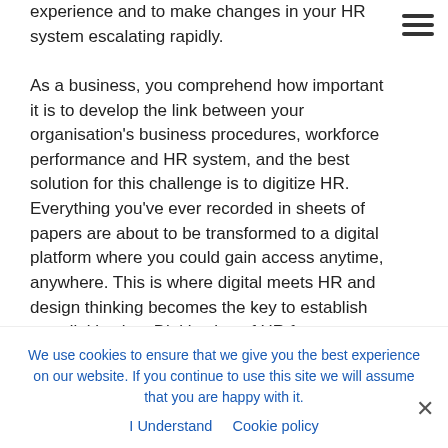experience and to make changes in your HR system escalating rapidly. As a business, you comprehend how important it is to develop the link between your organisation's business procedures, workforce performance and HR system, and the best solution for this challenge is to digitize HR. Everything you've ever recorded in sheets of papers are about to be transformed to a digital platform where you could gain access anytime, anywhere. This is where digital meets HR and design thinking becomes the key to establish true digitization. Digitization of HR forces organisations to rethink many elements in the workplace. Employees' needs and
We use cookies to ensure that we give you the best experience on our website. If you continue to use this site we will assume that you are happy with it.
I Understand   Cookie policy